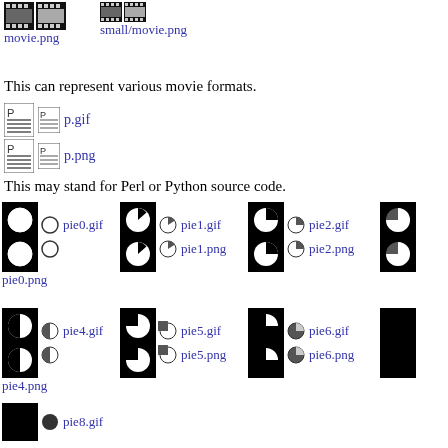[Figure (illustration): movie.png and small/movie.png icons showing film strip icons in large and small sizes]
This can represent various movie formats.
[Figure (illustration): p.gif and p.png icons showing document/page icons]
This may stand for Perl or Python source code.
[Figure (illustration): pie0.gif, pie0.png, pie1.gif, pie1.png, pie2.gif, pie2.png pie chart icons]
[Figure (illustration): pie4.gif, pie4.png, pie5.gif, pie5.png, pie6.gif, pie6.png pie chart icons]
[Figure (illustration): pie8.gif and pie8.png pie chart icons]
These icons can be used in applications where a list of documents is from a search. The little pie chart images can denote how relevant th